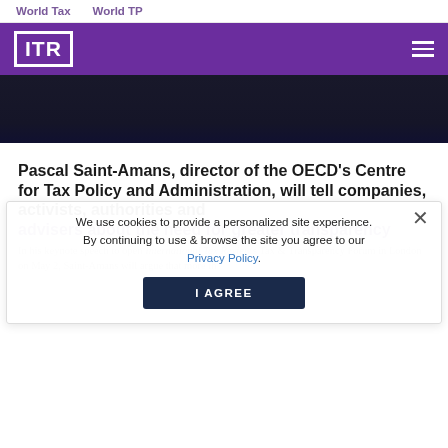World Tax    World TP
[Figure (logo): ITR (International Tax Review) logo in white on purple background with hamburger menu icon]
[Figure (photo): Dark hero image background]
Pascal Saint-Amans, director of the OECD's Centre for Tax Policy and Administration, will tell companies, activists, authorities and advisers about the need for greater transparency
In his keynote speech to open International Tax Review's Tax & Transparency Forum in London on May 2, Saint-Amans will argue that more than ever in the current economic climate, tax policies must ensure revenue collection while favouring growth, promoting employment and reducing inequalities.
We use cookies to provide a personalized site experience. By continuing to use & browse the site you agree to our Privacy Policy.